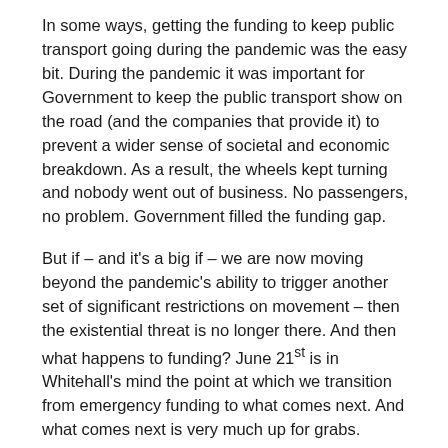In some ways, getting the funding to keep public transport going during the pandemic was the easy bit. During the pandemic it was important for Government to keep the public transport show on the road (and the companies that provide it) to prevent a wider sense of societal and economic breakdown. As a result, the wheels kept turning and nobody went out of business. No passengers, no problem. Government filled the funding gap.
But if – and it's a big if – we are now moving beyond the pandemic's ability to trigger another set of significant restrictions on movement – then the existential threat is no longer there. And then what happens to funding? June 21st is in Whitehall's mind the point at which we transition from emergency funding to what comes next. And what comes next is very much up for grabs.
One thing for sure is that there will still be a funding gap to fill after June 21st. The best guess being that patronage will be significantly below what it was before the pandemic (which was shrinking anyway for bus). This is based on the assumption that there will be more people working from home and even...